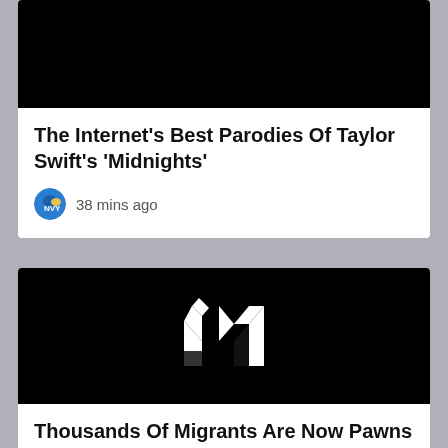[Figure (photo): Black image area at top of first article card]
The Internet's Best Parodies Of Taylor Swift's ‘Midnights’
38 mins ago
[Figure (logo): Black background with white angular M/arrow logo on second article card]
Thousands Of Migrants Are Now Pawns In